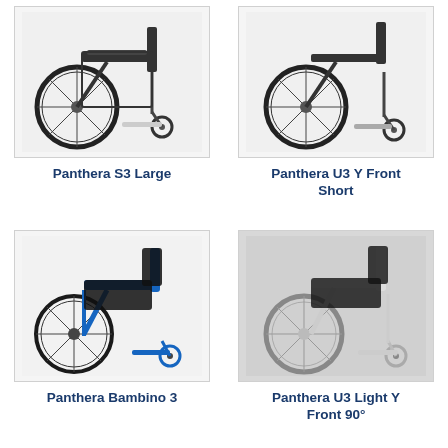[Figure (photo): Panthera S3 Large wheelchair, angled front view, dark frame with small front casters]
Panthera S3 Large
[Figure (photo): Panthera U3 Y Front Short wheelchair, angled front view, dark frame]
Panthera U3 Y Front Short
[Figure (photo): Panthera Bambino 3 wheelchair, blue frame, padded black seat and backrest, small front casters]
Panthera Bambino 3
[Figure (photo): Panthera U3 Light Y Front 90° wheelchair, white/silver frame, padded black seat]
Panthera U3 Light Y Front 90°